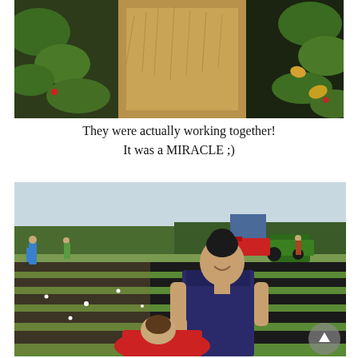[Figure (photo): Close-up photo of strawberry plants with green leaves, straw mulch and black plastic sheeting, with some small yellow/orange leaves visible. Shot from above at an angle.]
They were actually working together!
It was a MIRACLE ;)
[Figure (photo): Outdoor photo of a strawberry farm field. In the foreground, a girl in a navy blue sleeveless top with her dark hair in a bun leans over to pick strawberries, smiling. A child in a red shirt bends low below her. In the background, rows of strawberry plants with black plastic mulch stretch across the field, with other people picking. A green tractor and red farm equipment are visible in the distance along with trees.]